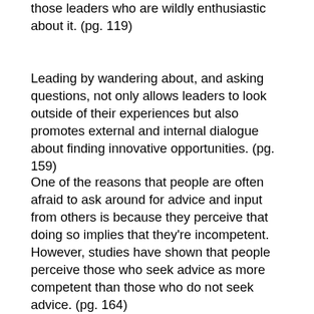those leaders who are wildly enthusiastic about it. (pg. 119)
Leading by wandering about, and asking questions, not only allows leaders to look outside of their experiences but also promotes external and internal dialogue about finding innovative opportunities. (pg. 159)
One of the reasons that people are often afraid to ask around for advice and input from others is because they perceive that doing so implies that they're incompetent. However, studies have shown that people perceive those who seek advice as more competent than those who do not seek advice. (pg. 164)
Transparently sharing of information makes employees feel powerful and when absent makes employees feel powerless. (pg. 237)